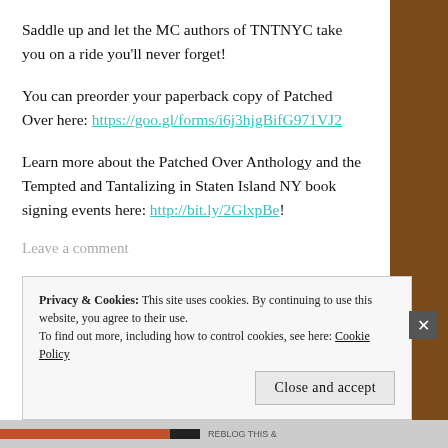Saddle up and let the MC authors of TNTNYC take you on a ride you'll never forget!
You can preorder your paperback copy of Patched Over here: https://goo.gl/forms/i6j3hjgBifG971VJ2
Learn more about the Patched Over Anthology and the Tempted and Tantalizing in Staten Island NY book signing events here: http://bit.ly/2GlxpBe!
Leave a comment
Privacy & Cookies: This site uses cookies. By continuing to use this website, you agree to their use. To find out more, including how to control cookies, see here: Cookie Policy
Close and accept